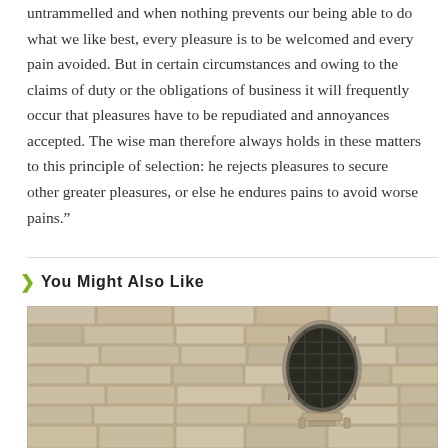untrammelled and when nothing prevents our being able to do what we like best, every pleasure is to be welcomed and every pain avoided. But in certain circumstances and owing to the claims of duty or the obligations of business it will frequently occur that pleasures have to be repudiated and annoyances accepted. The wise man therefore always holds in these matters to this principle of selection: he rejects pleasures to secure other greater pleasures, or else he endures pains to avoid worse pains."
You Might Also Like
[Figure (photo): Photo of a stone wall with an oval/circular dark grated window or vent, architectural detail of aged masonry]